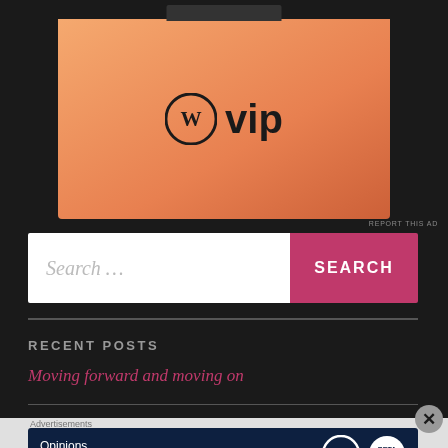[Figure (logo): WordPress VIP logo on orange gradient background with phone device mockup]
REPORT THIS AD
Search ...
SEARCH
RECENT POSTS
Moving forward and moving on
Holding the Man – More than a Movie Review
Advertisements
[Figure (infographic): WordPress VIP advertisement banner: Opinions. We all have them! with WordPress and NOW logos on dark blue background]